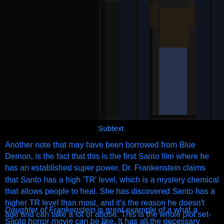[Figure (photo): Two dark film stills side by side: left shows a shirtless man with arms raised in a dark room with curtains/bars, right shows a dimly lit room with a table or surface]
Subtext.
Another note that may have been borrowed from Blue Demon, is the fact that this is the first Santo film where he has an established super power. Dr. Frankenstein claims that Santo has a high 'TR' level, which is a mystery chemical that allows people to heal. She has discovered Santo has a higher TR level than most, and it's the reason he doesn't age and can take a lot of abuse. This is the whole plot set-up for her trying to acquire Santo's blood, and it's never really dealt with later. One curious moment is when a ring announcer mentions Santo's healing power, making seem like this a well known fact.
Daughter of Frankenstein is great example of a what a Santo horror movie can be like. It has all the necessary